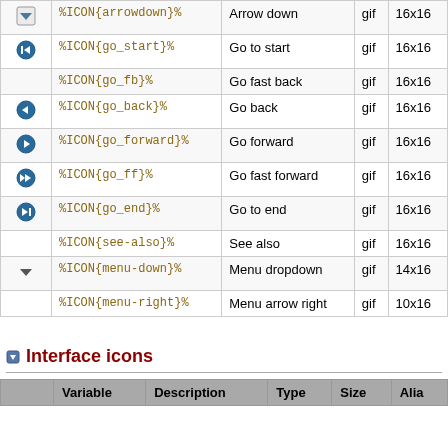|  | Variable | Description | Type | Size |
| --- | --- | --- | --- | --- |
| [arrowdown icon] | %ICON{arrowdown}% | Arrow down | gif | 16x16 |
| [go_start icon] | %ICON{go_start}% | Go to start | gif | 16x16 |
|  | %ICON{go_fb}% | Go fast back | gif | 16x16 |
| [go_back icon] | %ICON{go_back}% | Go back | gif | 16x16 |
| [go_forward icon] | %ICON{go_forward}% | Go forward | gif | 16x16 |
| [go_ff icon] | %ICON{go_ff}% | Go fast forward | gif | 16x16 |
| [go_end icon] | %ICON{go_end}% | Go to end | gif | 16x16 |
|  | %ICON{see-also}% | See also | gif | 16x16 |
| [menu-down icon] | %ICON{menu-down}% | Menu dropdown | gif | 14x16 |
|  | %ICON{menu-right}% | Menu arrow right | gif | 10x16 |
Interface icons
|  | Variable | Description | Type | Size | Alia |
| --- | --- | --- | --- | --- | --- |